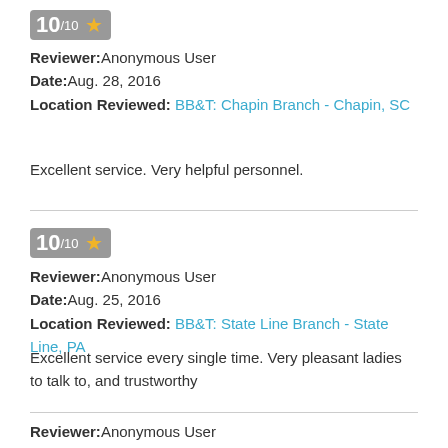[Figure (other): Rating badge showing 10/10 with gold star]
Reviewer: Anonymous User
Date: Aug. 28, 2016
Location Reviewed: BB&T: Chapin Branch - Chapin, SC
Excellent service. Very helpful personnel.
[Figure (other): Rating badge showing 10/10 with gold star]
Reviewer: Anonymous User
Date: Aug. 25, 2016
Location Reviewed: BB&T: State Line Branch - State Line, PA
Excellent service every single time. Very pleasant ladies to talk to, and trustworthy
Reviewer: Anonymous User
Date: July 28, 2016
Location Reviewed: BB&T: Conyngham Branch - Conyngham, PA
i WAS JUST AT THE LAUREL MALL LOCATION IN